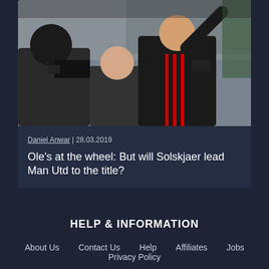[Figure (photo): A man in a black Manchester United Adidas tracksuit with red stripes raising his arm, surrounded by people and cameras, appears to be a football manager or player celebrating at a stadium]
Daniel Anwar | 28.03.2019
Ole's at the wheel: But will Solskjaer lead Man Utd to the title?
HELP & INFORMATION
About Us
Contact Us
Help
Affiliates
Jobs
Privacy Policy
Cookie Policy
Fairness
Responsible Gaming
Terms and Conditions
Game Reviews